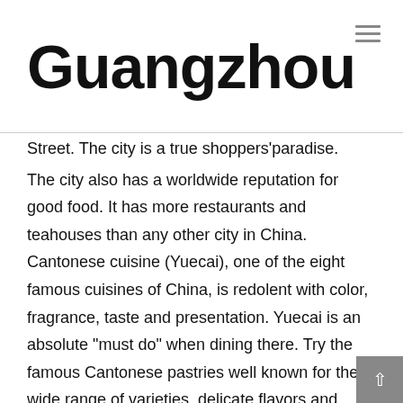Guangzhou
Street. The city is a true shoppers'paradise.
The city also has a worldwide reputation for good food. It has more restaurants and teahouses than any other city in China. Cantonese cuisine (Yuecai), one of the eight famous cuisines of China, is redolent with color, fragrance, taste and presentation. Yuecai is an absolute "must do" when dining there. Try the famous Cantonese pastries well known for their wide range of varieties, delicate flavors and different hues.
As the most important center of foreign commerce in South China, this city has hosted the China Import and Export Fair (Canton Fair) twice a year since 1957. Do make a reservation in